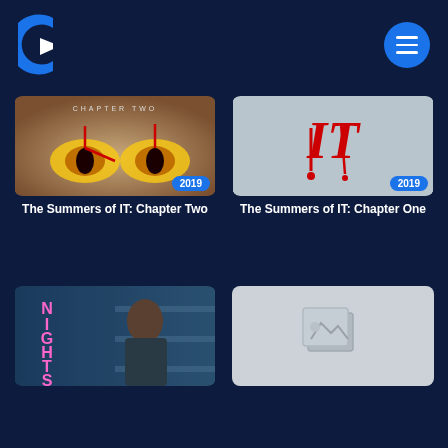[Figure (logo): Streaming service logo - stylized C with play triangle in blue and white]
[Figure (screenshot): Movie grid UI showing 4 cards: The Summers of IT Chapter Two (2019), The Summers of IT Chapter One (2019), Nights, and a placeholder image]
The Summers of IT: Chapter Two
The Summers of IT: Chapter One